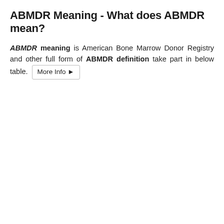ABMDR Meaning - What does ABMDR mean?
ABMDR meaning is American Bone Marrow Donor Registry and other full form of ABMDR definition take part in below table. More Info ▶